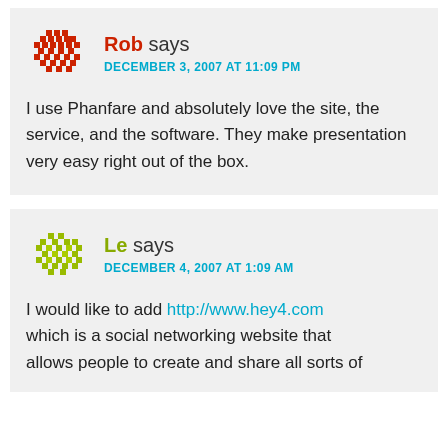Rob says DECEMBER 3, 2007 AT 11:09 PM — I use Phanfare and absolutely love the site, the service, and the software. They make presentation very easy right out of the box.
Le says DECEMBER 4, 2007 AT 1:09 AM — I would like to add http://www.hey4.com which is a social networking website that allows people to create and share all sorts of